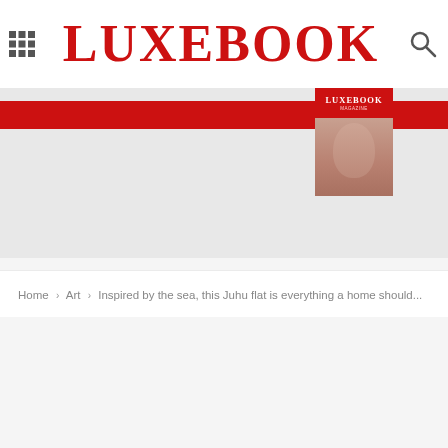LUXEBOOK
[Figure (screenshot): Website screenshot showing LUXEBOOK magazine header with grid menu icon on left, LUXEBOOK logo in red serif font in center, and search icon on right. Below is a banner area with a red horizontal bar and a magazine cover thumbnail showing the LUXEBOOK logo and a face/portrait.]
Home › Art › Inspired by the sea, this Juhu flat is everything a home should...